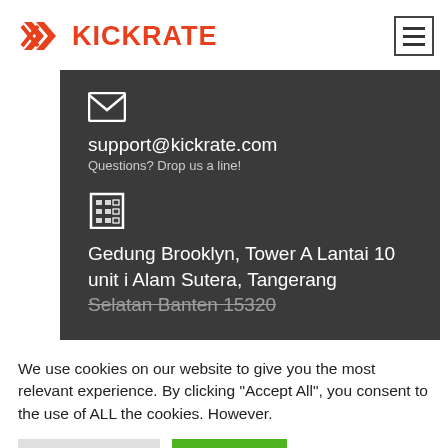[Figure (logo): Kickrate logo with red chevron/arrow icon and red KICKRATE text, plus hamburger menu icon on the right]
support@kickrate.com
Questions? Drop us a line!
Gedung Brooklyn, Tower A Lantai 10 unit i Alam Sutera, Tangerang Selatan Banten 15320
We use cookies on our website to give you the most relevant experience. By clicking "Accept All", you consent to the use of ALL the cookies. However.
Cookie Settings
Accept All